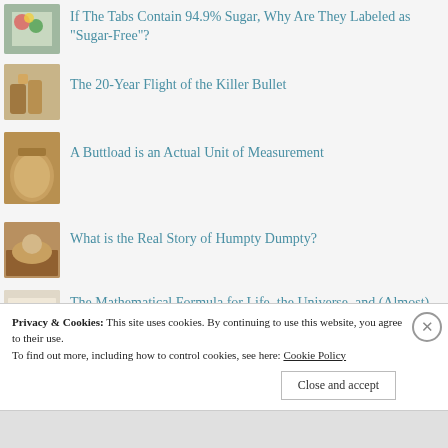If The Tabs Contain 94.9% Sugar, Why Are They Labeled as "Sugar-Free"?
The 20-Year Flight of the Killer Bullet
A Buttload is an Actual Unit of Measurement
What is the Real Story of Humpty Dumpty?
The Mathematical Formula for Life, the Universe, and (Almost) Everything
Why You Don't Remember the Amazing
Privacy & Cookies: This site uses cookies. By continuing to use this website, you agree to their use. To find out more, including how to control cookies, see here: Cookie Policy
Close and accept